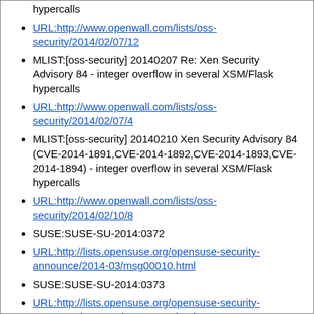Advisory 84 - integer overflow in several XSM/Flask hypercalls
URL:http://www.openwall.com/lists/oss-security/2014/02/07/12
MLIST:[oss-security] 20140207 Re: Xen Security Advisory 84 - integer overflow in several XSM/Flask hypercalls
URL:http://www.openwall.com/lists/oss-security/2014/02/07/4
MLIST:[oss-security] 20140210 Xen Security Advisory 84 (CVE-2014-1891,CVE-2014-1892,CVE-2014-1893,CVE-2014-1894) - integer overflow in several XSM/Flask hypercalls
URL:http://www.openwall.com/lists/oss-security/2014/02/10/8
SUSE:SUSE-SU-2014:0372
URL:http://lists.opensuse.org/opensuse-security-announce/2014-03/msg00010.html
SUSE:SUSE-SU-2014:0373
URL:http://lists.opensuse.org/opensuse-security-announce/2014-03/msg00011.html
SUSE:SUSE-SU-2014:0446
URL:http://lists.opensuse.org/opensuse-security-announce/2014-03/msg00021.html